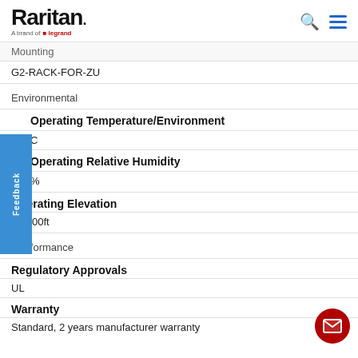Raritan — A brand of legrand
Mounting
G2-RACK-FOR-ZU
Environmental
Operating Temperature/Environment
C
Operating Relative Humidity
%
Operating Elevation
0-6000ft
Conformance
Regulatory Approvals
UL
Warranty
Standard, 2 years manufacturer warranty